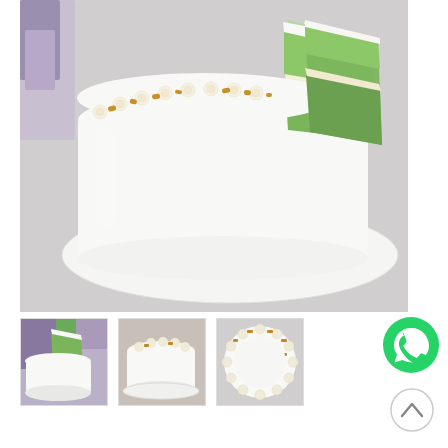[Figure (photo): A white frosted round cake on a marble cake board. A slice has been cut, revealing bright green (pandan) sponge layers inside with a cream filling. The top of the cake is decorated with piped cream rosettes and golden/amber colored crumble or nuts around the edge.]
[Figure (photo): Thumbnail 1: The same white cake with a slice removed, showing the green pandan interior, photographed from a slightly different angle against a colorful background.]
[Figure (photo): Thumbnail 2: The whole white round cake with cream rosette decorations on top, viewed from a slightly elevated angle.]
[Figure (photo): Thumbnail 3: Top-down view of the white cake showing the rosette and golden crumble decoration around the top edge.]